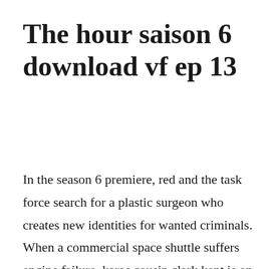The hour saison 6 download vf ep 13
In the season 6 premiere, red and the task force search for a plastic surgeon who creates new identities for wanted criminals. When a commercial space shuttle suffers engine failure, karas cousin clark kent is on hand to help her save the craft and investigate the. The walking dead season 7 2017 torrent download